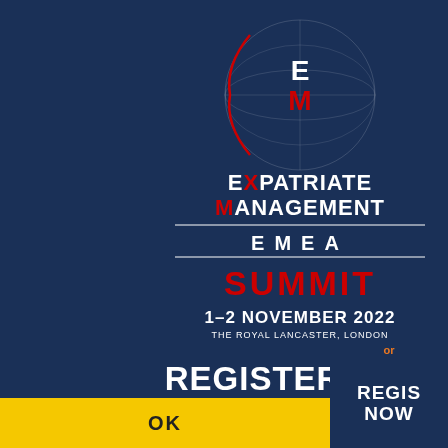[Figure (screenshot): Expatriate Management EMEA Summit banner with globe logo, event dates 1-2 November 2022, The Royal Lancaster London, REGISTER NOW button. A cookie consent overlay is shown in the lower left with text about cookies and an OK button.]
This website uses cookies to improve your experience and for ads personalisation. By continuing to browse this site you are agreeing to our use of these cookies. You can learn more about the cookies we use here.
OK